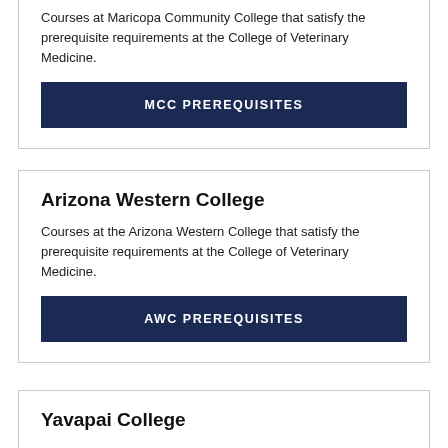Courses at Maricopa Community College that satisfy the prerequisite requirements at the College of Veterinary Medicine.
MCC PREREQUISITES
Arizona Western College
Courses at the Arizona Western College that satisfy the prerequisite requirements at the College of Veterinary Medicine.
AWC PREREQUISITES
Yavapai College